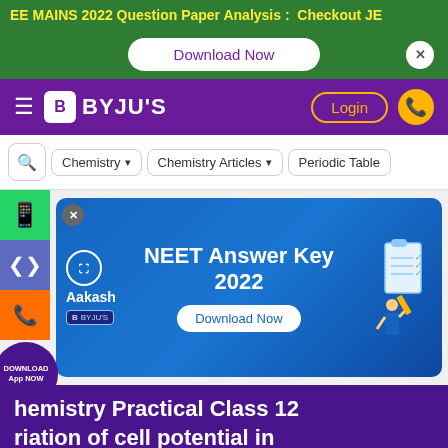EE MAINS 2022 Question Paper Analysis : Checkout JE
[Figure (screenshot): Download Now button with close X button on green background]
[Figure (logo): BYJU'S navigation bar with hamburger menu, Login button, and call button]
[Figure (screenshot): Breadcrumb navigation bar with search icon, Chemistry, Chemistry Articles, Periodic Table]
[Figure (screenshot): Aakash BYJU'S NEET Answer Key 2022 advertisement banner with Download Now button]
Chemistry Practical Class 12 Variation of cell potential in Zn|Zn2+||Cu2+|Cu with change in